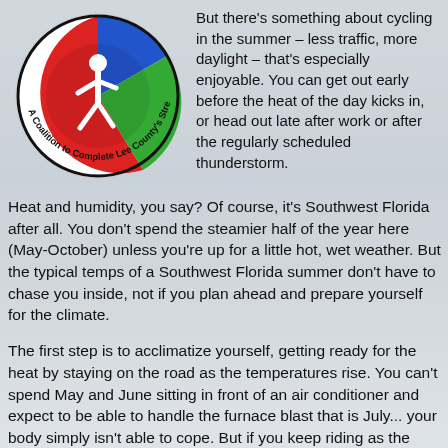[Figure (logo): Circular logo for 'A Coalition to Complete Lee County's Streets' with blue, red, and green pie sections and a white walking pedestrian figure in the center.]
But there's something about cycling in the summer – less traffic, more daylight – that's especially enjoyable. You can get out early before the heat of the day kicks in, or head out late after work or after the regularly scheduled thunderstorm.
Heat and humidity, you say? Of course, it's Southwest Florida after all. You don't spend the steamier half of the year here (May-October) unless you're up for a little hot, wet weather. But the typical temps of a Southwest Florida summer don't have to chase you inside, not if you plan ahead and prepare yourself for the climate.
The first step is to acclimatize yourself, getting ready for the heat by staying on the road as the temperatures rise. You can't spend May and June sitting in front of an air conditioner and expect to be able to handle the furnace blast that is July... your body simply isn't able to cope. But if you keep riding as the thermometer keeps rising, you're going to be